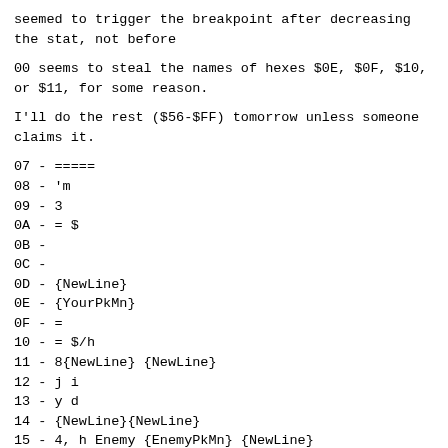seemed to trigger the breakpoint after decreasing the stat, not before
00 seems to steal the names of hexes $0E, $0F, $10, or $11, for some reason.
I'll do the rest ($56-$FF) tomorrow unless someone claims it.
07 - =====
08 - 'm
09 - 3
0A - = $
0B -
0C -
0D - {NewLine}
0E - {YourPkMn}
0F - =
10 - = $/h
11 - 8{NewLine} {NewLine}
12 - j i
13 - y d
14 - {NewLine}{NewLine}
15 - 4, h Enemy {EnemyPkMn} {NewLine}
16 - ={NewLine}!
17 - 5
18 - {NewLine}{NewLine}
19 - 'm= $/h
1A - {NewLine}{NewLine}
1B - 999 9-'v